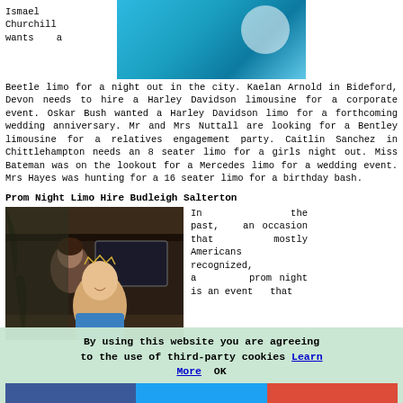Ismael Churchill wants a
[Figure (photo): Blue background photo with a white semi-transparent circle, top-right area of page]
Beetle limo for a night out in the city. Kaelan Arnold in Bideford, Devon needs to hire a Harley Davidson limousine for a corporate event. Oskar Bush wanted a Harley Davidson limo for a forthcoming wedding anniversary. Mr and Mrs Nuttall are looking for a Bentley limousine for a relatives engagement party. Caitlin Sanchez in Chittlehampton needs an 8 seater limo for a girls night out. Miss Bateman was on the lookout for a Mercedes limo for a wedding event. Mrs Hayes was hunting for a 16 seater limo for a birthday bash.
Prom Night Limo Hire Budleigh Salterton
[Figure (photo): Two young women in formal wear, one wearing a tiara, posing by a limousine door]
In the past, an occasion that mostly Americans recognized, a prom night is an event that
By using this website you are agreeing to the use of third-party cookies Learn More  OK